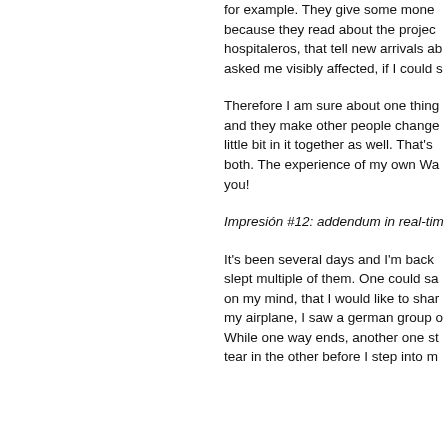for example. They give some money because they read about the project, hospitaleros, that tell new arrivals about, asked me visibly affected, if I could s
Therefore I am sure about one thing and they make other people change little bit in it together as well. That's both. The experience of my own Wa you!
Impresión #12: addendum in real-tim
It's been several days and I'm back slept multiple of them. One could sa on my mind, that I would like to shar my airplane, I saw a german group c While one way ends, another one st tear in the other before I step into m